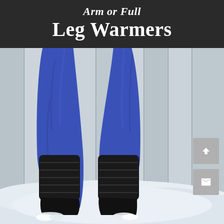Arm or Full Leg Warmers
[Figure (photo): Photograph of legs wearing bright blue leggings and black knit leg warmers over black boots, standing in snow with a light wood fence in background]
[Figure (illustration): Gray scroll-up arrow button (navigation UI)]
[Figure (illustration): Gray mail/envelope button (navigation UI)]